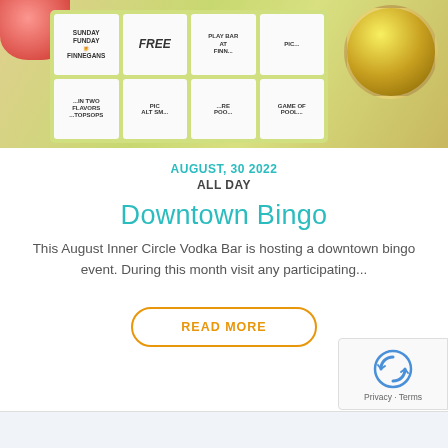[Figure (photo): Photo of a bingo card on a table with drinks. The bingo card has cells including FREE, SUNDAY FUNDAY FINNEGANS, MIN TWO FLAVORS, and other text. A glass of golden drink is visible on the right.]
AUGUST, 30 2022
ALL DAY
Downtown Bingo
This August Inner Circle Vodka Bar is hosting a downtown bingo event. During this month visit any participating...
READ MORE